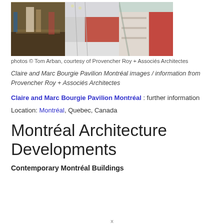[Figure (photo): Three interior photographs of the Claire and Marc Bourgie Pavilion Montréal showing gallery spaces with art displays]
photos © Tom Arban, courtesy of Provencher Roy + Associés Architectes
Claire and Marc Bourgie Pavilion Montréal images / information from Provencher Roy + Associés Architectes
Claire and Marc Bourgie Pavilion Montréal : further information
Location: Montréal, Quebec, Canada
Montréal Architecture Developments
Contemporary Montréal Buildings